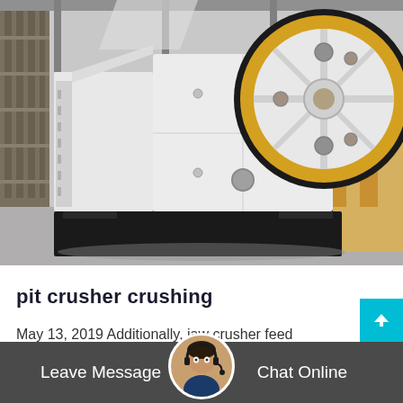[Figure (photo): Industrial jaw crusher machine, large white metal body with yellow and black flywheel, photographed in a factory/warehouse setting]
pit crusher crushing
May 13, 2019 Additionally, jaw crusher feed should be pre-screened using a grizzly screen prior to crushing to remove materia...